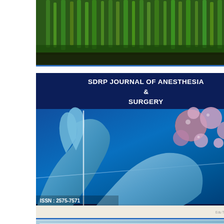[Figure (photo): Journal cover image showing green wheat or grass plants in an agricultural/research setting with a dark bar at the bottom]
[Figure (photo): SDRP Journal of Anesthesia & Surgery cover with dark blue background, surgical gloves with instruments, pink/purple cell bubbles, title text at top, ISSN: 2575-7571 at bottom left]
[Figure (photo): Partial view of another SDRP Journal cover with teal/blue background, showing 'SDRP JOURNAL' text at the bottom, partially cropped]